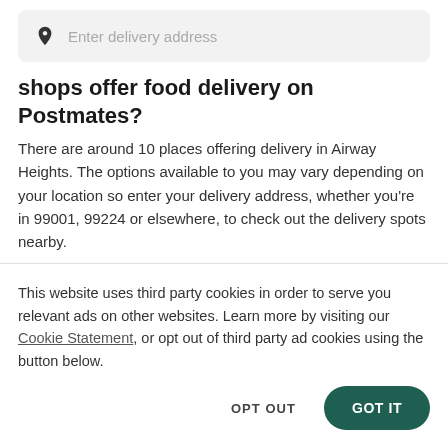[Figure (other): Search bar with location pin icon and placeholder text 'Enter delivery address']
shops offer food delivery on Postmates?
There are around 10 places offering delivery in Airway Heights. The options available to you may vary depending on your location so enter your delivery address, whether you're in 99001, 99224 or elsewhere, to check out the delivery spots nearby.
Which restaurants offer the best food delivery in Airway Heights?
This website uses third party cookies in order to serve you relevant ads on other websites. Learn more by visiting our Cookie Statement, or opt out of third party ad cookies using the button below.